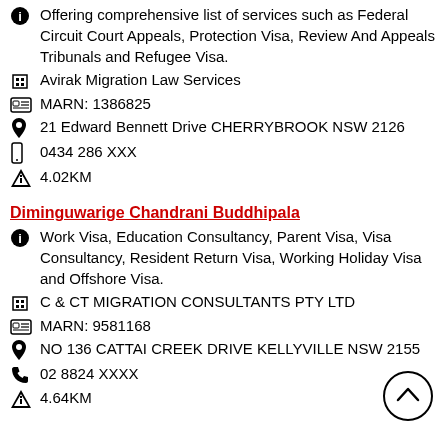Offering comprehensive list of services such as Federal Circuit Court Appeals, Protection Visa, Review And Appeals Tribunals and Refugee Visa.
Avirak Migration Law Services
MARN: 1386825
21 Edward Bennett Drive CHERRYBROOK NSW 2126
0434 286 XXX
4.02KM
Diminguwarige Chandrani Buddhipala
Work Visa, Education Consultancy, Parent Visa, Visa Consultancy, Resident Return Visa, Working Holiday Visa and Offshore Visa.
C & CT MIGRATION CONSULTANTS PTY LTD
MARN: 9581168
NO 136 CATTAI CREEK DRIVE KELLYVILLE NSW 2155
02 8824 XXXX
4.64KM